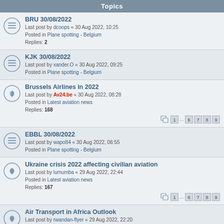Topics
BRU 30/08/2022 | Last post by dcoops « 30 Aug 2022, 10:25 | Posted in Plane spotting - Belgium | Replies: 2
KJK 30/08/2022 | Last post by xander.O « 30 Aug 2022, 09:25 | Posted in Plane spotting - Belgium
Brussels Airlines in 2022 | Last post by Av24.be « 30 Aug 2022, 08:28 | Posted in Latest aviation news | Replies: 168 | Pages: 1 ... 6 7 8 9
EBBL 30/08/2022 | Last post by wapo84 « 30 Aug 2022, 06:55 | Posted in Plane spotting - Belgium
Ukraine crisis 2022 affecting civilian aviation | Last post by lumumba « 29 Aug 2022, 22:44 | Posted in Latest aviation news | Replies: 167 | Pages: 1 ... 6 7 8 9
Air Transport in Africa Outlook | Last post by rwandan-flyer « 29 Aug 2022, 22:20 | Posted in Latest aviation news | Replies: 33 | Pages: 1 2
LGG 24/08/2022 | Last post by Robspotter « 29 Aug 2022, 19:32 | Posted in Plane spotting - Belgium